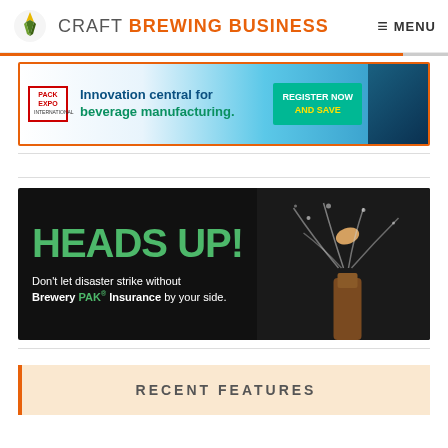CRAFT BREWING BUSINESS  ≡ MENU
[Figure (infographic): Pack Expo International advertisement banner: 'Innovation central for beverage manufacturing. REGISTER NOW AND SAVE']
[Figure (infographic): Heads Up! Don't let disaster strike without Brewery PAK Insurance by your side. Black background ad with bottle cork explosion image.]
RECENT FEATURES